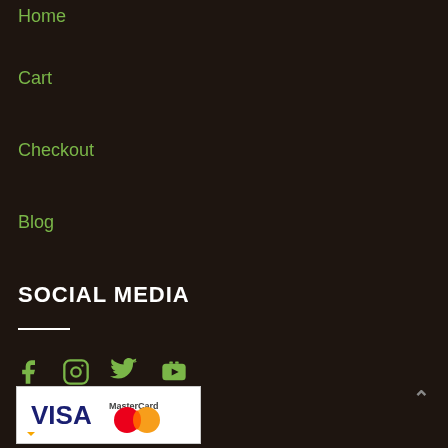Home
Cart
Checkout
Blog
SOCIAL MEDIA
[Figure (illustration): Social media icons: Facebook, Instagram, Twitter, YouTube]
[Figure (illustration): Payment method logos: Visa and MasterCard]